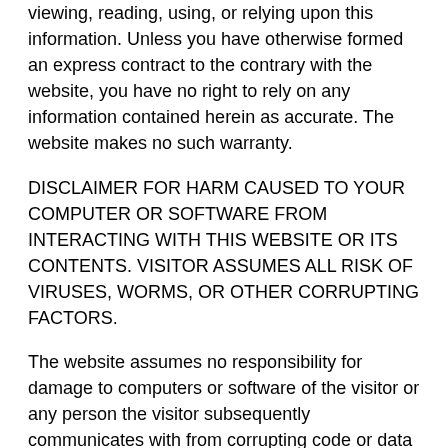viewing, reading, using, or relying upon this information. Unless you have otherwise formed an express contract to the contrary with the website, you have no right to rely on any information contained herein as accurate. The website makes no such warranty.
DISCLAIMER FOR HARM CAUSED TO YOUR COMPUTER OR SOFTWARE FROM INTERACTING WITH THIS WEBSITE OR ITS CONTENTS. VISITOR ASSUMES ALL RISK OF VIRUSES, WORMS, OR OTHER CORRUPTING FACTORS.
The website assumes no responsibility for damage to computers or software of the visitor or any person the visitor subsequently communicates with from corrupting code or data that is inadvertently passed to the visitor's computer. Again, visitor views and interacts with this site, or banners or pop-ups or advertising displayed thereon, at his own risk.
DISCLAIMER FOR HARM CAUSED BY DOWNLOADS